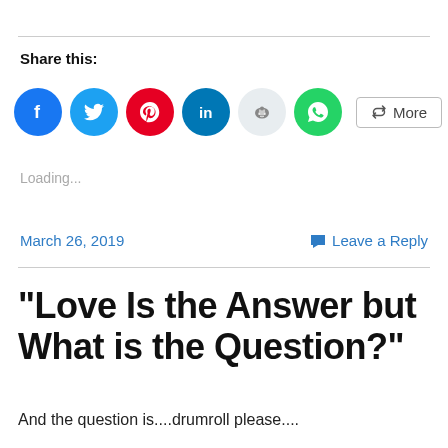Share this:
[Figure (other): Social share buttons: Facebook, Twitter, Pinterest, LinkedIn, Reddit, WhatsApp, and More button]
Loading...
March 26, 2019
Leave a Reply
“Love Is the Answer but What is the Question?”
And the question is....drumroll please....